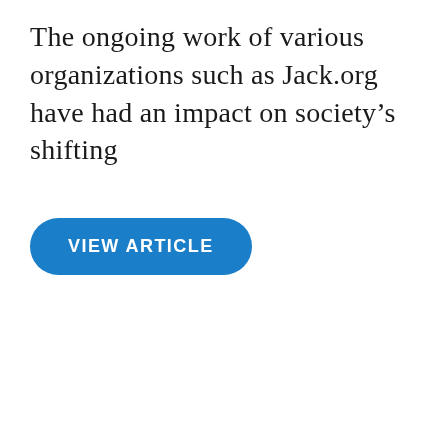The ongoing work of various organizations such as Jack.org have had an impact on society's shifting
[Figure (other): Blue rounded rectangular button with white bold uppercase text reading 'VIEW ARTICLE']